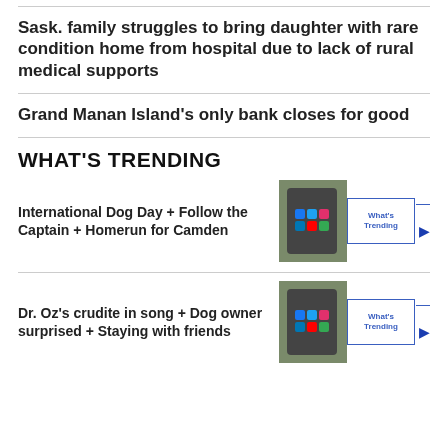Sask. family struggles to bring daughter with rare condition home from hospital due to lack of rural medical supports
Grand Manan Island's only bank closes for good
WHAT'S TRENDING
International Dog Day + Follow the Captain + Homerun for Camden
[Figure (screenshot): Thumbnail of a smartphone screen showing social media app icons including Facebook, Twitter, Instagram, LinkedIn, YouTube, Gmail, with a 'What's Trending' label overlay and play button]
Dr. Oz's crudite in song + Dog owner surprised + Staying with friends
[Figure (screenshot): Thumbnail of a smartphone screen showing social media app icons including Facebook, Twitter, Instagram, LinkedIn, YouTube, Gmail, with a 'What's Trending' label overlay and play button]